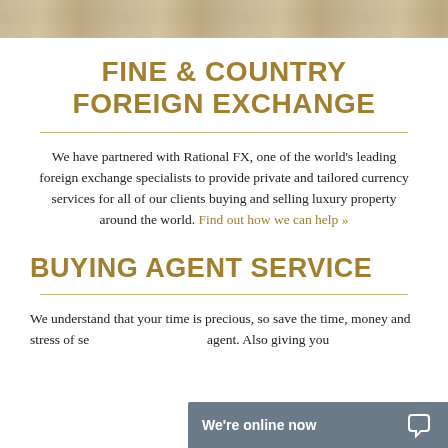[Figure (photo): Partial photo strip at the top of the page showing a cropped photograph]
FINE & COUNTRY FOREIGN EXCHANGE
We have partnered with Rational FX, one of the world's leading foreign exchange specialists to provide private and tailored currency services for all of our clients buying and selling luxury property around the world. Find out how we can help »
BUYING AGENT SERVICE
We understand that your time is precious, so save the time, money and stress of se... agent. Also giving you...